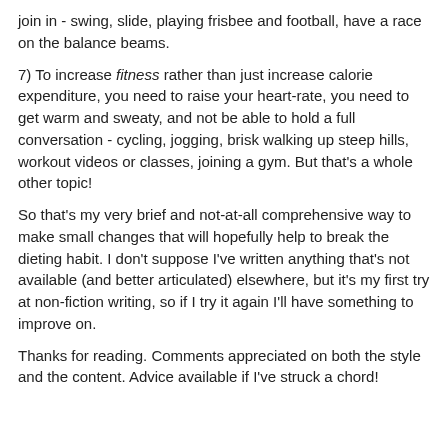join in - swing, slide, playing frisbee and football, have a race on the balance beams.
7) To increase fitness rather than just increase calorie expenditure, you need to raise your heart-rate, you need to get warm and sweaty, and not be able to hold a full conversation - cycling, jogging, brisk walking up steep hills, workout videos or classes, joining a gym. But that's a whole other topic!
So that's my very brief and not-at-all comprehensive way to make small changes that will hopefully help to break the dieting habit. I don't suppose I've written anything that's not available (and better articulated) elsewhere, but it's my first try at non-fiction writing, so if I try it again I'll have something to improve on.
Thanks for reading. Comments appreciated on both the style and the content. Advice available if I've struck a chord!